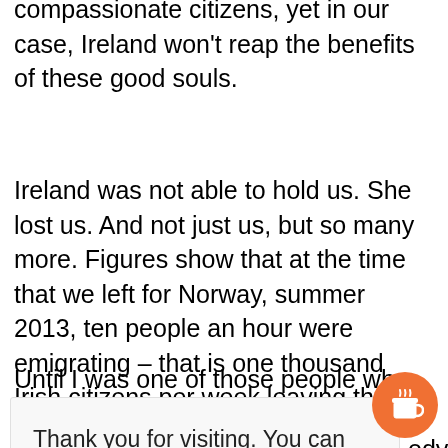compassionate citizens, yet in our case, Ireland won't reap the benefits of these good souls.
Ireland was not able to hold us. She lost us. And not just us, but so many more. Figures show that at the time that we left for Norway, summer 2013, ten people an hour were emigrating – that is one thousand Irish citizens per week leaving the country.
Until I was one of those people who had
Thank you for visiting. You can now buy me a coffee!